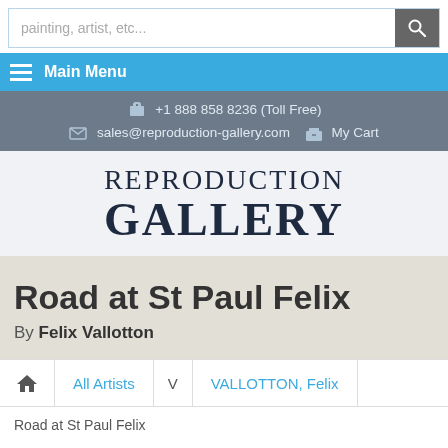painting, artist, etc...
Main Menu
+1 888 858 8236 (Toll Free)
sales@reproduction-gallery.com  My Cart
[Figure (logo): Reproduction Gallery logo with serif text]
Road at St Paul Felix
By Felix Vallotton
Home  All Artists  V  VALLOTTON, Felix
Road at St Paul Felix